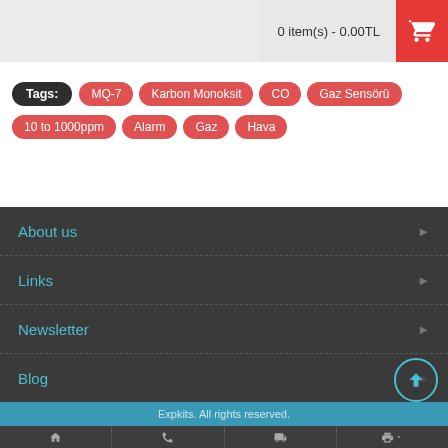0 item(s) - 0.00TL
Tags: MQ-7 Karbon Monoksit CO Gaz Sensörü 10 to 1000ppm Alarm Gaz Hava
About us
Links
Newsletter
Blog
Expkits. All rights reserved.